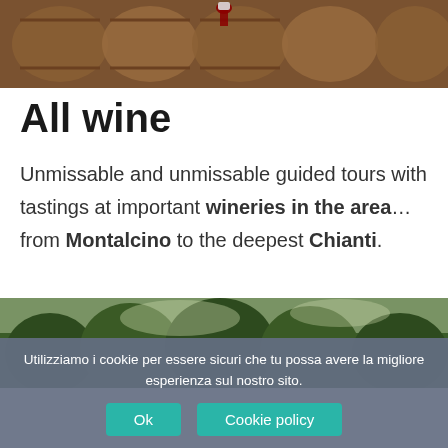[Figure (photo): Wine barrels in a cellar, seen from above, with red wine visible]
All wine
Unmissable and unmissable guided tours with tastings at important wineries in the area… from Montalcino to the deepest Chianti.
[Figure (photo): Forest/woodland landscape with green trees against a light sky]
Utilizziamo i cookie per essere sicuri che tu possa avere la migliore esperienza sul nostro sito.